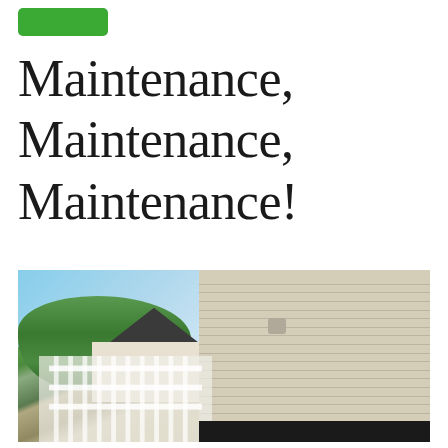[Figure (other): Green button/badge element at top left]
Maintenance, Maintenance, Maintenance!
[Figure (photo): Exterior photo of a house showing vinyl siding, a white fence/railing, trees, blue sky, and a garage door at the bottom right]